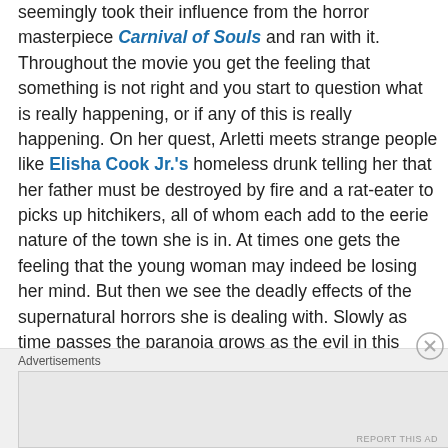seemingly took their influence from the horror masterpiece Carnival of Souls and ran with it. Throughout the movie you get the feeling that something is not right and you start to question what is really happening, or if any of this is really happening. On her quest, Arletti meets strange people like Elisha Cook Jr.'s homeless drunk telling her that her father must be destroyed by fire and a rat-eater to picks up hitchikers, all of whom each add to the eerie nature of the town she is in. At times one gets the feeling that the young woman may indeed be losing her mind. But then we see the deadly effects of the supernatural horrors she is dealing with. Slowly as time passes the paranoia grows as the evil in this town makes its presence increasingly known. This slow burn style leads to some
Advertisements